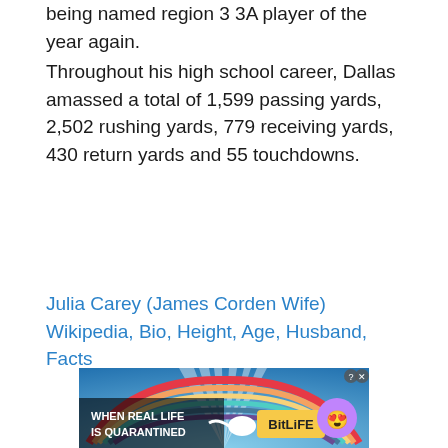being named region 3 3A player of the year again.
Throughout his high school career, Dallas amassed a total of 1,599 passing yards, 2,502 rushing yards, 779 receiving yards, 430 return yards and 55 touchdowns.
Julia Carey (James Corden Wife) Wikipedia, Bio, Height, Age, Husband, Facts
[Figure (other): BitLife advertisement banner: colorful rainbow background with text 'WHEN REAL LIFE IS QUARANTINED' and BitLife logo with emoji characters]